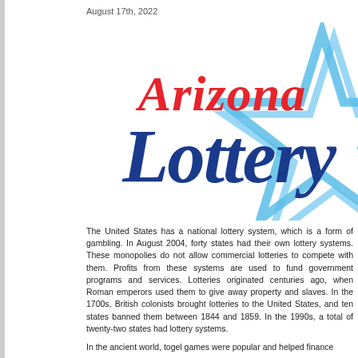August 17th, 2022
[Figure (logo): Arizona Lottery logo — 'Arizona' in red script above 'Lottery' in large dark blue script, overlaid on a blue outlined star shape]
The United States has a national lottery system, which is a form of gambling. In August 2004, forty states had their own lottery systems. These monopolies do not allow commercial lotteries to compete with them. Profits from these systems are used to fund government programs and services. Lotteries originated centuries ago, when Roman emperors used them to give away property and slaves. In the 1700s, British colonists brought lotteries to the United States, and ten states banned them between 1844 and 1859. In the 1990s, a total of twenty-two states had lottery systems.
In the ancient world, togel games were popular and helped finance...